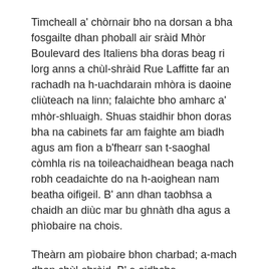Timcheall a' chòrnair bho na dorsan a bha fosgailte dhan phoball air sràid Mhòr Boulevard des Italiens bha doras beag ri lorg anns a chùl-shràid Rue Laffitte far an rachadh na h-uachdarain mhòra is daoine cliùteach na linn; falaichte bho amharc a' mhòr-shluaigh. Shuas staidhir bhon doras bha na cabinets far am faighte am biadh agus am fìon a b'fhearr san t-saoghal còmhla ris na toileachaidhean beaga nach robh ceadaichte do na h-aoighean nam beatha oifigeil. B' ann dhan taobhsa a chaidh an diùc mar bu ghnàth dha agus a phìobaire na chois.
Theàrn am pìobaire bhon charbad; a-mach dhan chùl-shràid. B' e oidhche bhruthainneach a bh'ann. Bha na h-eich frionasach, is miann aca fhaighinn air falbh bho chuingealachadh na sràide cumhaing is faileasan nan corra dhuine a bha a' triall tron leth-dhorchadas mar thaibhsean. Na fhèileadh thiugh, bha am pìobaire a' fairoachdainn toth, mì-chofhurtail agus tachaisoach sna